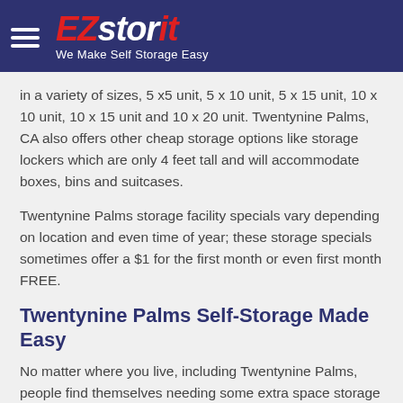EZstorit - We Make Self Storage Easy
in a variety of sizes, 5 x5 unit, 5 x 10 unit, 5 x 15 unit, 10 x 10 unit, 10 x 15 unit and 10 x 20 unit. Twentynine Palms, CA also offers other cheap storage options like storage lockers which are only 4 feet tall and will accommodate boxes, bins and suitcases.
Twentynine Palms storage facility specials vary depending on location and even time of year; these storage specials sometimes offer a $1 for the first month or even first month FREE.
Twentynine Palms Self-Storage Made Easy
No matter where you live, including Twentynine Palms, people find themselves needing some extra space storage sometime in their lives. That is often where self storage Twentynine Palms, CA comes in handy.
A storage unit can be used to house seasonal items like winter